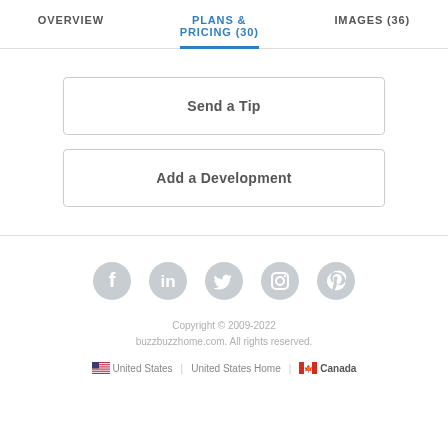OVERVIEW | PLANS & PRICING (30) | IMAGES (36)
Send a Tip
Add a Development
[Figure (illustration): Five social media icons (Facebook, LinkedIn, Twitter, Instagram, Pinterest) in grey circles]
Copyright © 2009-2022 buzzbuzzhome.com. All rights reserved.
United States | United States Home | Canada